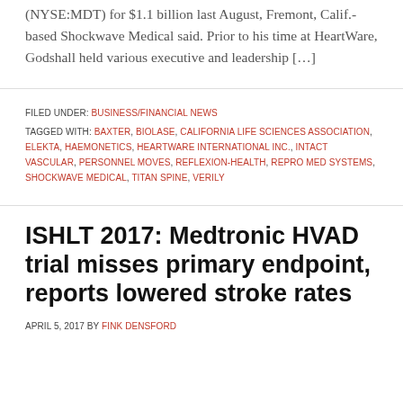(NYSE:MDT) for $1.1 billion last August, Fremont, Calif.-based Shockwave Medical said. Prior to his time at HeartWare, Godshall held various executive and leadership […]
FILED UNDER: BUSINESS/FINANCIAL NEWS
TAGGED WITH: BAXTER, BIOLASE, CALIFORNIA LIFE SCIENCES ASSOCIATION, ELEKTA, HAEMONETICS, HEARTWARE INTERNATIONAL INC., INTACT VASCULAR, PERSONNEL MOVES, REFLEXION-HEALTH, REPRO MED SYSTEMS, SHOCKWAVE MEDICAL, TITAN SPINE, VERILY
ISHLT 2017: Medtronic HVAD trial misses primary endpoint, reports lowered stroke rates
APRIL 5, 2017 BY FINK DENSFORD